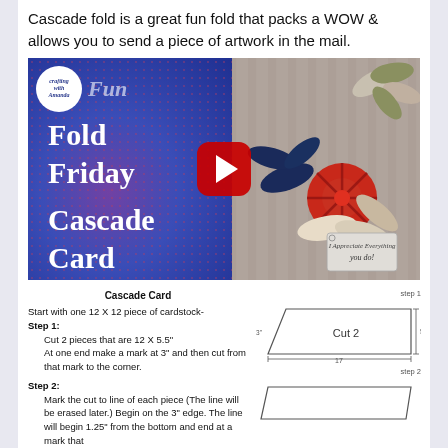Cascade fold is a great fun fold that packs a WOW & allows you to send a piece of artwork in the mail.
[Figure (screenshot): YouTube video thumbnail for 'Fun Fold Friday | Cascade Card' by Crafting with Amanda. Left half shows blue bokeh background with white text 'Fun Fold Friday Cascade Card'. Right half shows paper flower craft arrangement with red, navy, green, and cream flowers with a tag reading 'I Appreciate Everything you do!'. Red play button in center.]
Cascade Card
Start with one 12 X 12 piece of cardstock-
Step 1:
	Cut 2 pieces that are 12 X 5.5"
	At one end make a mark at 3" and then cut from that mark to the corner.
Step 2:
	Mark the cut to line of each piece (The line will be erased later.) Begin on the 3" edge. The line will begin 1.25" from the bottom and end at a mark that
step 1
[Figure (engineering-diagram): Diagram of a parallelogram/trapezoid shape labeled 'Cut 2' with dimension annotations: 17 along the bottom, 5.5" on the right side, 3" on the left side.]
step 2
[Figure (engineering-diagram): Diagram of a parallelogram shape for step 2 of the cascade card instructions, showing the angled cut piece.]